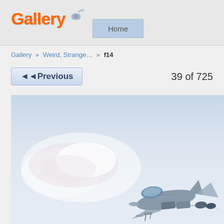Gallery
Home
Gallery » Weird, Strange… » f14
◄◄ Previous
39 of 725
[Figure (photo): F-14 fighter jet flying through a pale blue sky with clouds in the background. The aircraft is shown from a slightly elevated front-right angle, revealing the cockpit and swept wings.]